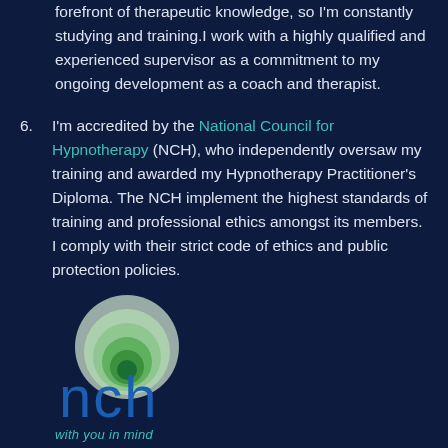forefront of therapeutic knowledge, so I'm constantly studying and training.I work with a highly qualified and experienced supervisor as a commitment to my ongoing development as a coach and therapist.
6. I'm accredited by the National Council for Hypnotherapy (NCH), who independently oversaw my training and awarded my Hypnotherapy Practitioner's Diploma. The NCH implement the highest standards of training and professional ethics amongst its members. I comply with their strict code of ethics and public protection policies.
[Figure (logo): NCH (National Council for Hypnotherapy) logo: overlapping concentric circles in shades of green/teal forming a spiral/target pattern above the text 'nch' in blue lowercase letters, with tagline 'with you in mind' in teal italics below]
The NCH are independently overseen by the NCFE.